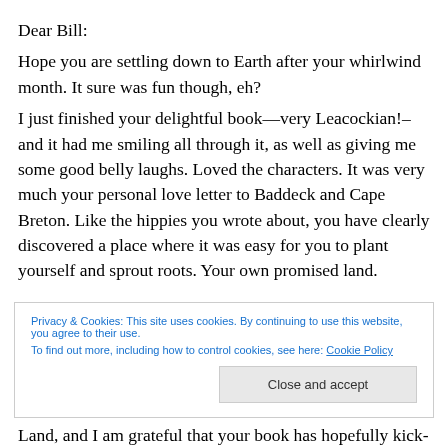Dear Bill:
Hope you are settling down to Earth after your whirlwind month. It sure was fun though, eh?
I just finished your delightful book—very Leacockian!–and it had me smiling all through it, as well as giving me some good belly laughs. Loved the characters. It was very much your personal love letter to Baddeck and Cape Breton. Like the hippies you wrote about, you have clearly discovered a place where it was easy for you to plant yourself and sprout roots. Your own promised land.
Privacy & Cookies: This site uses cookies. By continuing to use this website, you agree to their use. To find out more, including how to control cookies, see here: Cookie Policy
Land, and I am grateful that your book has hopefully kick-